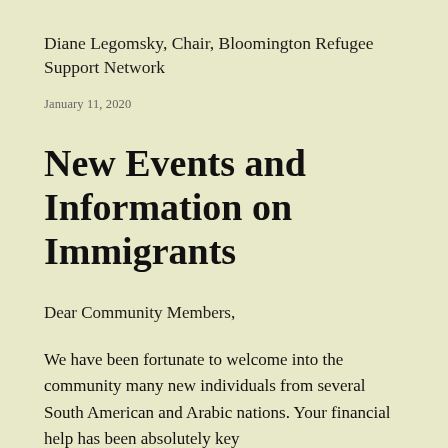Diane Legomsky, Chair, Bloomington Refugee Support Network
January 11, 2020
New Events and Information on Immigrants
Dear Community Members,
We have been fortunate to welcome into the community many new individuals from several South American and Arabic nations. Your financial help has been absolutely key...